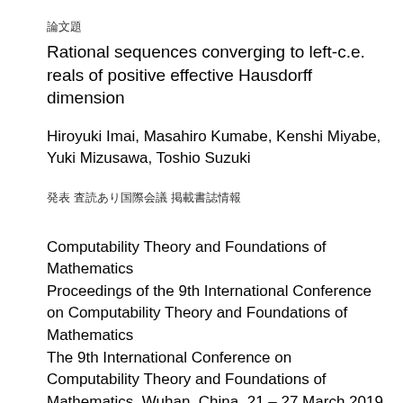論文題
Rational sequences converging to left-c.e. reals of positive effective Hausdorff dimension
Hiroyuki Imai, Masahiro Kumabe, Kenshi Miyabe, Yuki Mizusawa, Toshio Suzuki
発表
査読あり国際会議
掲載書誌情報
Computability Theory and Foundations of Mathematics
Proceedings of the 9th International Conference on Computability Theory and Foundations of Mathematics
The 9th International Conference on Computability Theory and Foundations of Mathematics, Wuhan, China, 21 – 27 March 2019
https://doi.org/10.1142/12917 | June 2022